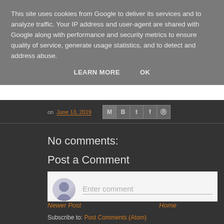This site uses cookies from Google to deliver its services and to analyze traffic. Your IP address and user-agent are shared with Google along with performance and security metrics to ensure quality of service, generate usage statistics, and to detect and address abuse.
LEARN MORE    OK
on June 13, 2019
No comments:
Post a Comment
Enter comment
Newer Post    Home
Subscribe to: Post Comments (Atom)